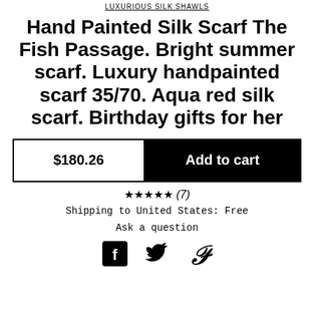LUXURIOUS SILK SHAWLS
Hand Painted Silk Scarf The Fish Passage. Bright summer scarf. Luxury handpainted scarf 35/70. Aqua red silk scarf. Birthday gifts for her
$180.26  Add to cart
★★★★★ (7)
Shipping to United States: Free
Ask a question
[Figure (other): Social media icons: Facebook, Twitter, Pinterest]